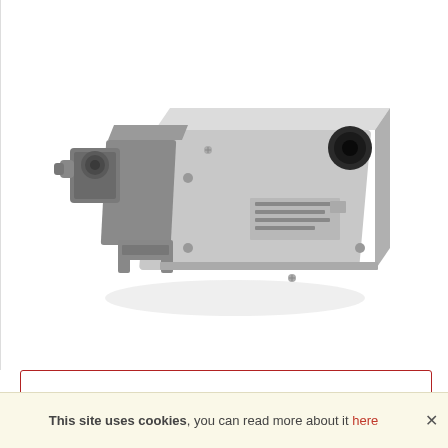[Figure (photo): Industrial pneumatic solenoid valve with connector block and mounting body. The valve has a grey/silver metallic body with a black circular port on the top face, a solenoid actuator with electrical connector on the left side, and labels/markings on the front face. The component appears to be a directional control valve used in pneumatic automation systems.]
This site uses cookies, you can read more about it here ×